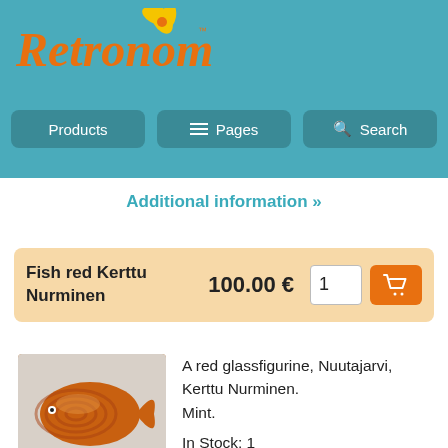[Figure (logo): Retronomi logo with orange italic text and yellow leaf/flower icon on teal background]
Products | Pages | Search
Additional information »
Fish red Kerttu Nurminen   100.00 €   1   [cart button]
[Figure (photo): A red glass fish figurine from Nuutajarvi by Kerttu Nurminen, amber/red colored, shown on a light background]
A red glassfigurine, Nuutajarvi, Kerttu Nurminen.
Mint.
In Stock: 1